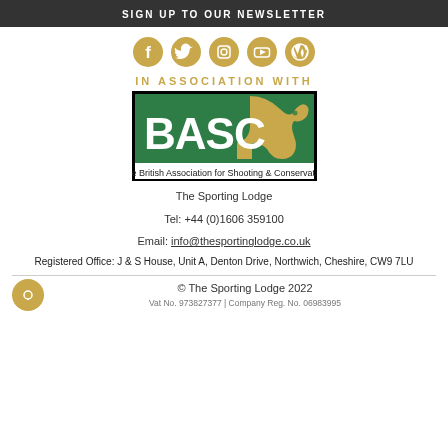SIGN UP TO OUR NEWSLETTER
[Figure (other): Five social media icons (Facebook, Twitter, Instagram, YouTube, WordPress) in gold/tan circles]
IN ASSOCIATION WITH
[Figure (logo): BASC logo — The British Association for Shooting & Conservation, green background with dog silhouette]
The Sporting Lodge
Tel: +44 (0)1606 359100
Email: info@thesportinglodge.co.uk
Registered Office: J & S House, Unit A, Denton Drive, Northwich, Cheshire, CW9 7LU
© The Sporting Lodge 2022
Vat No. 973827377 | Company Reg. No. 06983995